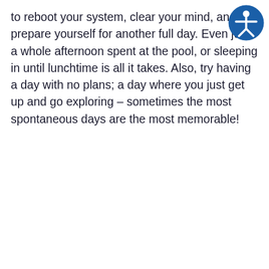to reboot your system, clear your mind, and prepare yourself for another full day. Even just a whole afternoon spent at the pool, or sleeping in until lunchtime is all it takes. Also, try having a day with no plans; a day where you just get up and go exploring – sometimes the most spontaneous days are the most memorable!
[Figure (illustration): Accessibility icon: a blue circle with a white stick figure person with arms outstretched]